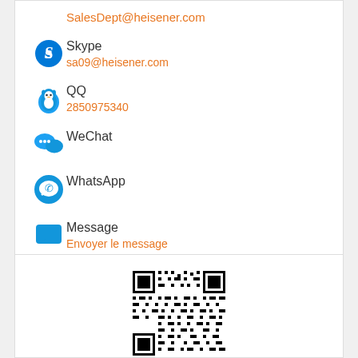SalesDept@heisener.com
Skype
sa09@heisener.com
QQ
2850975340
WeChat
WhatsApp
Message
Envoyer le message
[Figure (other): QR code for Heisener contact]